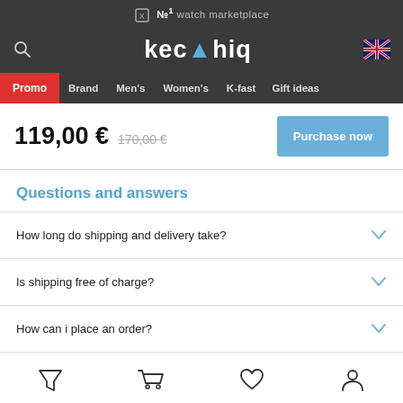№1 watch marketplace
[Figure (logo): Kechiq logo with search icon and UK flag]
Promo  Brand  Men's  Women's  K-fast  Gift ideas
119,00 €  170,00 €  Purchase now
Questions and answers
How long do shipping and delivery take?
Is shipping free of charge?
How can i place an order?
[Figure (infographic): Bottom navigation bar with filter, cart, wishlist, and account icons]